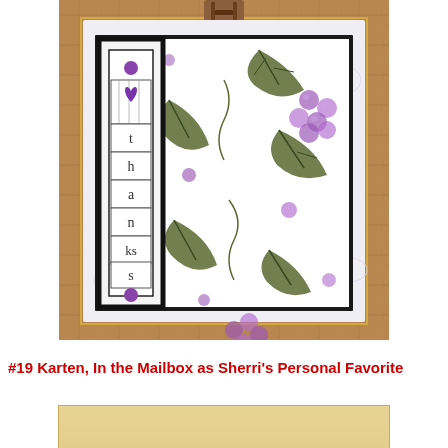[Figure (photo): A handmade greeting card pinned to a burlap background with a wooden clothespin. The card features a black-bordered white panel with a vertical strip spelling out 'thanks' letter by letter in small boxes with a purple heart at top, and a large right panel with olive green grape leaves and purple grapes stamped on white embossed paper. A lavender/white swirl-embossed mat layer surrounds the inner panels.]
#19 Karten, In the Mailbox as Sherri's Personal Favorite
[Figure (photo): Bottom cropped photo showing the bottom edge of what appears to be a cream/gold colored card or envelope.]